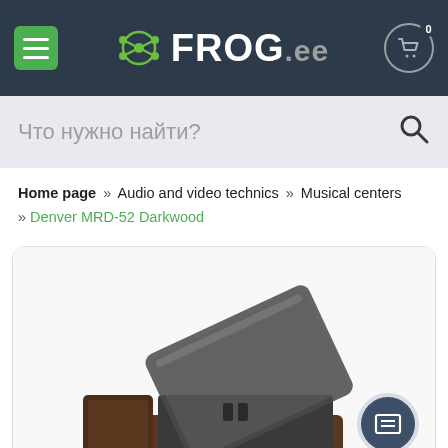FROG.ee
Что нужно найти?
Home page » Audio and video technics » Musical centers » Denver MRD-52 Darkwood
[Figure (photo): Product photo of Denver MRD-52 Darkwood turntable/music center with dark wooden body and a lifted transparent lid, viewed from an angle on a white background.]